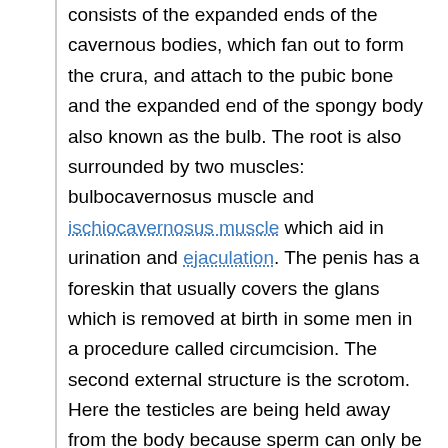consists of the expanded ends of the cavernous bodies, which fan out to form the crura, and attach to the pubic bone and the expanded end of the spongy body also known as the bulb. The root is also surrounded by two muscles: bulbocavernosus muscle and ischiocavernosus muscle which aid in urination and ejaculation. The penis has a foreskin that usually covers the glans which is removed at birth in some men in a procedure called circumcision. The second external structure is the scrotom. Here the testicles are being held away from the body because sperm can only be produced in an environment several degrees lower than normal body temperature. This has many sweat glands to aid in temperature control. Males also have internal structures as well, and these consist of the testicles, the duct system, the